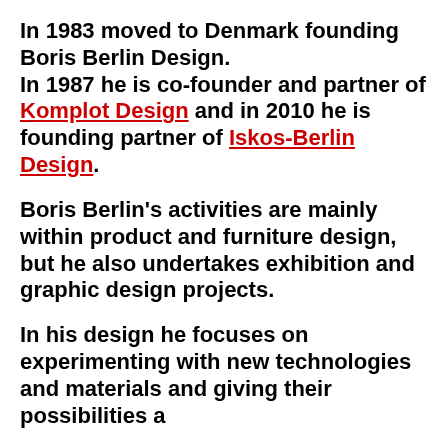In 1983 moved to Denmark founding Boris Berlin Design. In 1987 he is co-founder and partner of Komplot Design and in 2010 he is founding partner of Iskos-Berlin Design.
Boris Berlin's activities are mainly within product and furniture design, but he also undertakes exhibition and graphic design projects.
In his design he focuses on experimenting with new technologies and materials and giving their possibilities and...